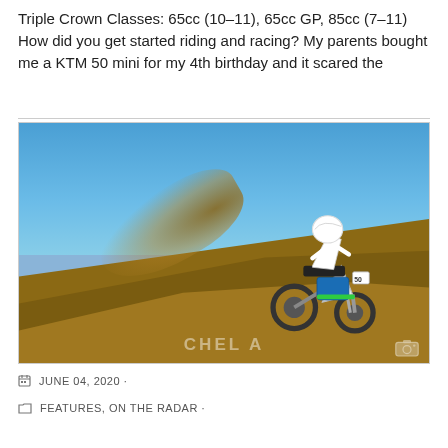Triple Crown Classes: 65cc (10–11), 65cc GP, 85cc (7–11) How did you get started riding and racing? My parents bought me a KTM 50 mini for my 4th birthday and it scared the
[Figure (photo): Motocross rider on a white dirt bike navigating a steep dirt hill/berm, with a roost of dirt flying behind the rear wheel. Blue sky background. Watermark text partially visible at bottom. Camera icon in bottom right corner.]
JUNE 04, 2020 ·
FEATURES, ON THE RADAR ·